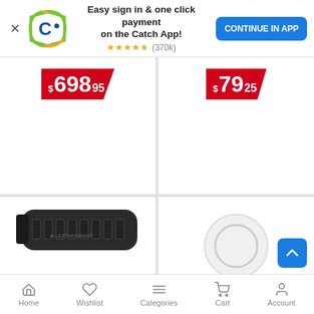[Figure (screenshot): App banner with Catch logo, text 'Easy sign in & one click payment on the Catch App!', star rating (370k), and 'CONTINUE IN APP' button]
Easy sign in & one click payment on the Catch App!
★★★★★ (370k)
CONTINUE IN APP
$698.95
$79.25
[Figure (photo): Leatherman Surge Wave Charge 42-Bit Kit — two black multi-tool bit holders with multiple bits arranged in rows]
Leatherman Surge Wave Charge 42-Bit Kit
[Figure (photo): Leatherman Sidekick Multi-Tool Knife w/ — image loading circle placeholder]
Leatherman Sidekick Multi-Tool Knife w/
Home   Wishlist   Categories   Cart   Account